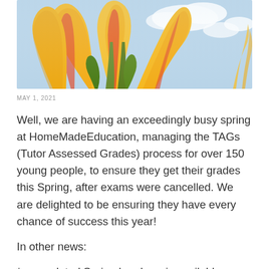[Figure (photo): Close-up photograph of orange and yellow tulip flowers against a blue sky with white clouds, viewed from below looking upward.]
MAY 1, 2021
Well, we are having an exceedingly busy spring at HomeMadeEducation, managing the TAGs (Tutor Assessed Grades) process for over 150 young people, to ensure they get their grades this Spring, after exams were cancelled. We are delighted to be ensuring they have every chance of success this year!
In other news:
*our updated Spring brochure is available now, it can be